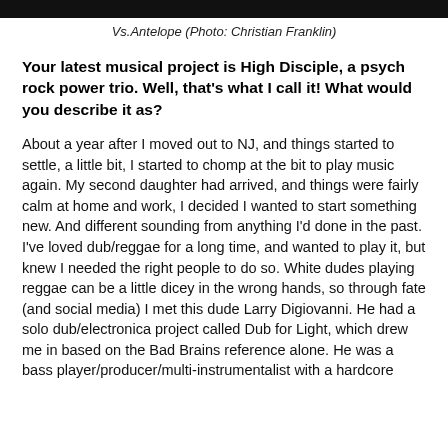[Figure (photo): Top portion of a photo, dark/black background visible as a strip at the top of the page]
Vs.Antelope (Photo: Christian Franklin)
Your latest musical project is High Disciple, a psych rock power trio. Well, that's what I call it! What would you describe it as?
About a year after I moved out to NJ, and things started to settle, a little bit, I started to chomp at the bit to play music again. My second daughter had arrived, and things were fairly calm at home and work, I decided I wanted to start something new. And different sounding from anything I'd done in the past. I've loved dub/reggae for a long time, and wanted to play it, but knew I needed the right people to do so. White dudes playing reggae can be a little dicey in the wrong hands, so through fate (and social media) I met this dude Larry Digiovanni. He had a solo dub/electronica project called Dub for Light, which drew me in based on the Bad Brains reference alone. He was a bass player/producer/multi-instrumentalist with a hardcore